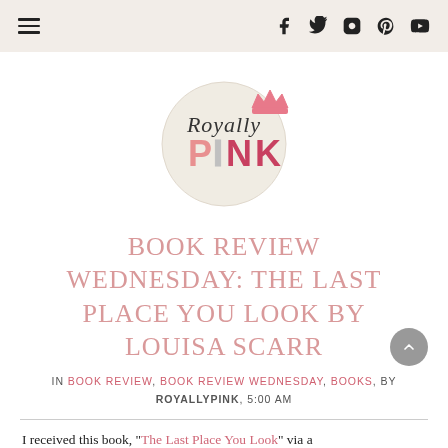≡  f  𝕏  ⊡  ⊕  ▶
[Figure (logo): Royally Pink blog logo: circular cream background with cursive 'Royally' above bold colorful 'PINK', pink crown decoration at top right]
BOOK REVIEW WEDNESDAY: THE LAST PLACE YOU LOOK BY LOUISA SCARR
IN BOOK REVIEW, BOOK REVIEW WEDNESDAY, BOOKS, BY ROYALLYPINK, 5:00 AM
I received this book, "The Last Place You Look" via a